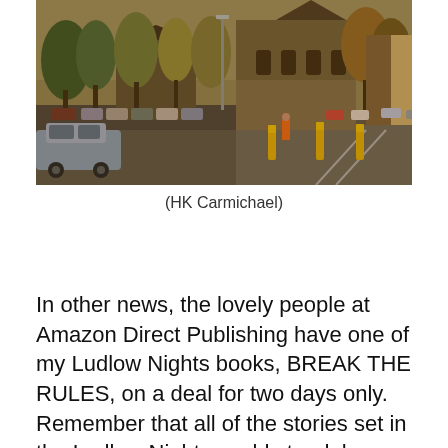[Figure (photo): Outdoor street scene showing a historic stone church building with Gothic architecture, autumn trees with orange/yellow foliage, parked cars along a road, yellow bollards, and an overcast warm-toned sky. A blue/grey car is visible in the foreground on the left.]
(HK Carmichael)
In other news, the lovely people at Amazon Direct Publishing have one of my Ludlow Nights books, BREAK THE RULES, on a deal for two days only. Remember that all of the stories set in the Ludlow Nights world standalone, so if you haven't tried one then grab T.C. and